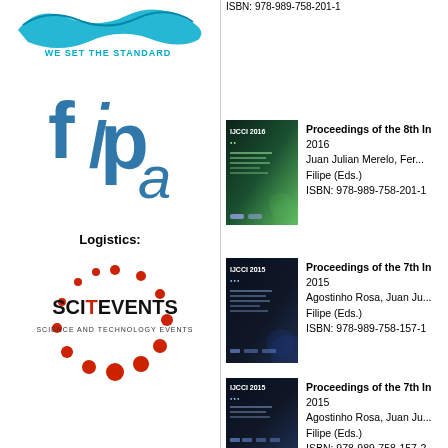[Figure (logo): OMICS logo with 'WE SET THE STANDARD' text]
[Figure (logo): FIPA logo]
Logistics:
[Figure (logo): SCITEVENTS Science and Technology Events logo]
[Figure (illustration): IJCCI 2016 proceedings book cover]
Proceedings of the 8th In... 2016
Juan Julian Merelo, Fer...
Filipe (Eds.)
ISBN: 978-989-758-201-1
[Figure (illustration): IJCCI 2015 proceedings book cover (volume 1)]
Proceedings of the 7th In... 2015
Agostinho Rosa, Juan Ju...
Filipe (Eds.)
ISBN: 978-989-758-157-1
[Figure (illustration): IJCCI 2015 proceedings book cover (volume 2)]
Proceedings of the 7th In... 2015
Agostinho Rosa, Juan Ju...
Filipe (Eds.)
ISBN: 978-989-758-157-2